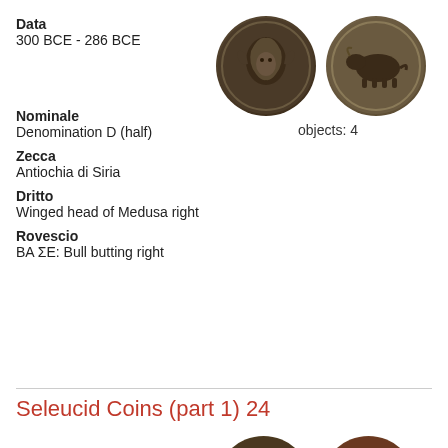Data
300 BCE - 286 BCE
[Figure (photo): Two ancient coins shown side by side: obverse showing winged head of Medusa, reverse showing bull butting right]
objects: 4
Nominale
Denomination D (half)
Zecca
Antiochia di Siria
Dritto
Winged head of Medusa right
Rovescio
BA ΣE: Bull butting right
Seleucid Coins (part 1) 24
Data
300 BCE - 281 BCE
[Figure (photo): Two ancient coins partially visible at bottom: bronze coins with figures]